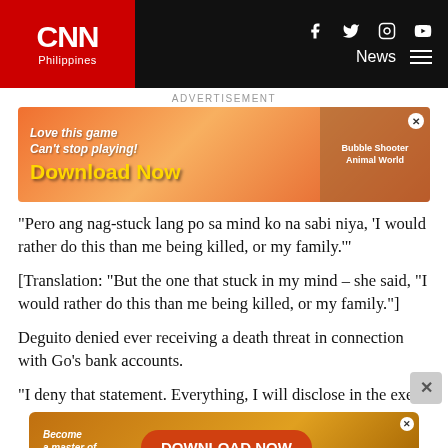CNN Philippines
[Figure (screenshot): CNN Philippines website advertisement banner - mobile game download ad with colorful bubbles]
“Pero ang nag-stuck lang po sa mind ko na sabi niya, ‘I would rather do this than me being killed, or my family.’”
[Translation: “But the one that stuck in my mind – she said, “I would rather do this than me being killed, or my family.”]
Deguito denied ever receiving a death threat in connection with Go’s bank accounts.
“I deny that statement. Everything, I will disclose in the execut
[Figure (screenshot): Bottom advertisement banner - mobile game download ad]